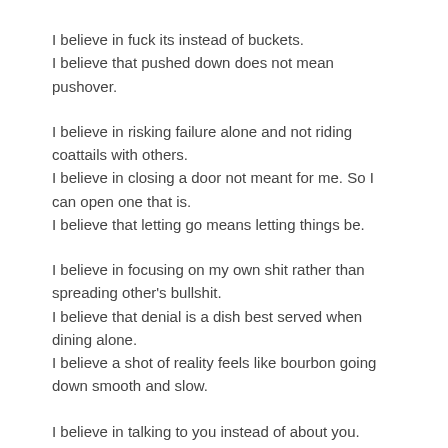I believe in fuck its instead of buckets.
I believe that pushed down does not mean pushover.
I believe in risking failure alone and not riding coattails with others.
I believe in closing a door not meant for me. So I can open one that is.
I believe that letting go means letting things be.
I believe in focusing on my own shit rather than spreading other's bullshit.
I believe that denial is a dish best served when dining alone.
I believe a shot of reality feels like bourbon going down smooth and slow.
I believe in talking to you instead of about you.
I believe in fucking up, owning up and making up.
I believe messy and beautiful are one and the same.
I believe in silent voices and loud actions.